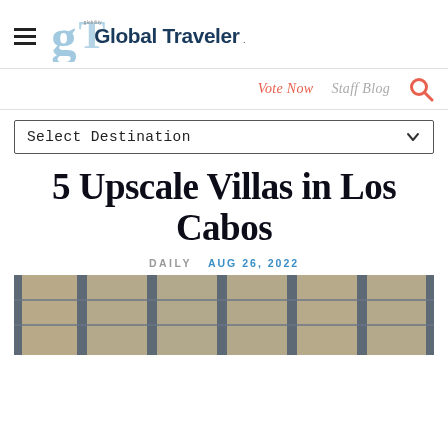Global Traveler
Vote Now   Staff Blog
Select Destination
5 Upscale Villas in Los Cabos
DAILY   AUG 26, 2022
[Figure (photo): Exterior facade of a building with glass windows, dark frames, shown in evening/dusk lighting]